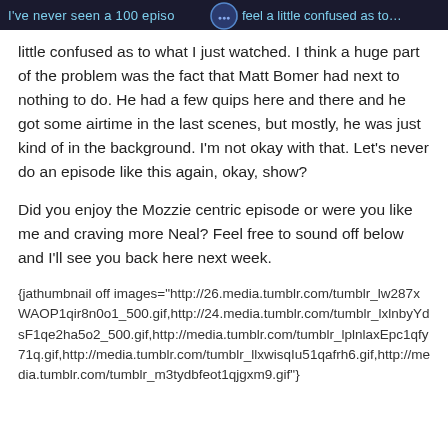I've never seen a 100 episode... I feel a little confused as to what I just watched.
little confused as to what I just watched. I think a huge part of the problem was the fact that Matt Bomer had next to nothing to do. He had a few quips here and there and he got some airtime in the last scenes, but mostly, he was just kind of in the background. I'm not okay with that. Let's never do an episode like this again, okay, show?
Did you enjoy the Mozzie centric episode or were you like me and craving more Neal? Feel free to sound off below and I'll see you back here next week.
{jathumbnail off images="http://26.media.tumblr.com/tumblr_lw287xWAOP1qir8n0o1_500.gif,http://24.media.tumblr.com/tumblr_lxlnbyYdsF1qe2ha5o2_500.gif,http://media.tumblr.com/tumblr_lplnlaxEpc1qfy71q.gif,http://media.tumblr.com/tumblr_llxwisqIu51qafrh6.gif,http://media.tumblr.com/tumblr_m3tydbfeot1qjgxm9.gif"}